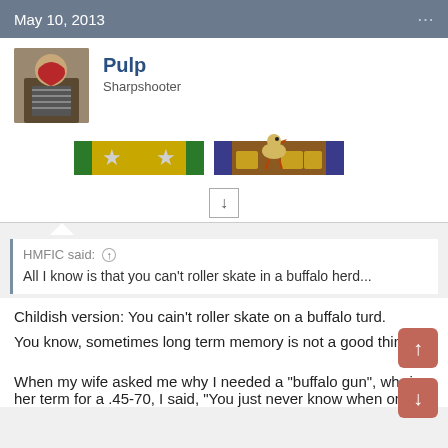May 10, 2013
Pulp
Sharpshooter
[Figure (illustration): User avatar photo of a person in striped outfit, and forum badge ribbons with stars and chicken imagery]
HMFIC said: ↑

All I know is that you can't roller skate in a buffalo herd...
Childish version: You cain't roller skate on a buffalo turd.
You know, sometimes long term memory is not a good thing
When my wife asked me why I needed a "buffalo gun", which is her term for a .45-70, I said, "You just never know when one